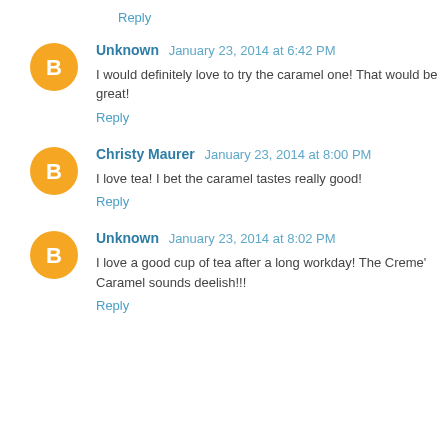Reply
Unknown  January 23, 2014 at 6:42 PM
I would definitely love to try the caramel one! That would be great!
Reply
Christy Maurer  January 23, 2014 at 8:00 PM
I love tea! I bet the caramel tastes really good!
Reply
Unknown  January 23, 2014 at 8:02 PM
I love a good cup of tea after a long workday! The Creme' Caramel sounds deelish!!!
Reply